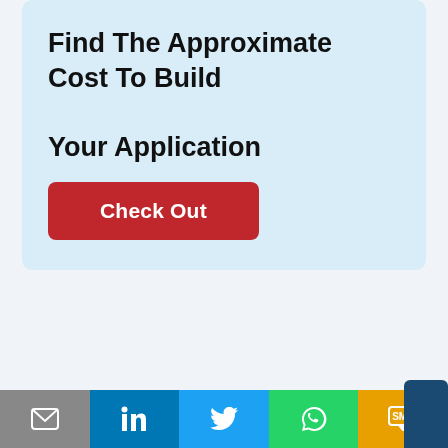Find The Approximate Cost To Build Your Application
Check Out
How To Prepare For A Website Redesign
We use cookies on our website to give you the most relevant experience by remembering your preferences and repeat visits. By clicking “Accept”, you consent to the use of ALL the cookies.
Cookie settings
I Accept